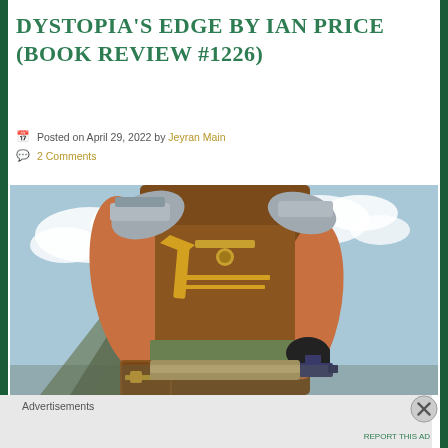DYSTOPIA'S EDGE BY IAN PRICE (BOOK REVIEW #1226)
Posted on April 29, 2022 by Jeyran Main
2 Comments
[Figure (illustration): Book cover illustration showing a muscular warrior figure wearing brown leather armor with gold accents and shoulder plates. The figure holds a gun and has a satchel at the hip. Background shows mountains and a light blue sky with clouds.]
Advertisements
REPORT THIS AD